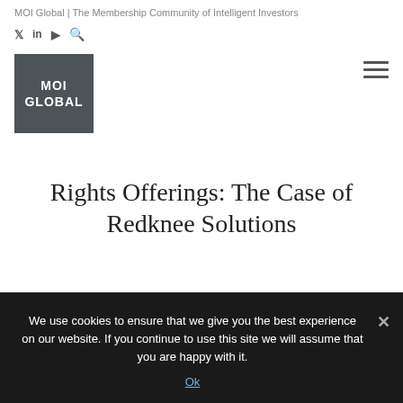MOI Global | The Membership Community of Intelligent Investors
[Figure (logo): MOI Global logo — dark grey square with white bold text MOI GLOBAL]
Rights Offerings: The Case of Redknee Solutions
We use cookies to ensure that we give you the best experience on our website. If you continue to use this site we will assume that you are happy with it.
Ok